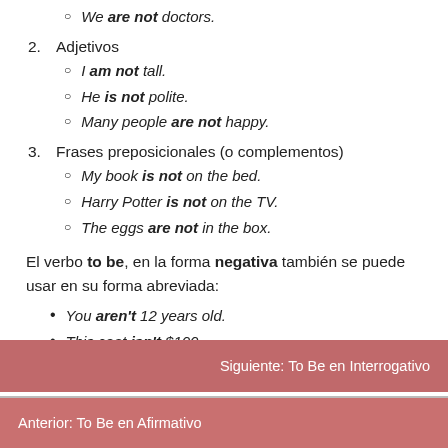We are not doctors.
2. Adjetivos
I am not tall.
He is not polite.
Many people are not happy.
3. Frases preposicionales (o complementos)
My book is not on the bed.
Harry Potter is not on the TV.
The eggs are not in the box.
El verbo to be, en la forma negativa también se puede usar en su forma abreviada:
You aren't 12 years old.
This coat isn't $100.
Standard double beds aren't 5 feet wide.
Siguiente: To Be en Interrogativo
Anterior: To Be en Afirmativo